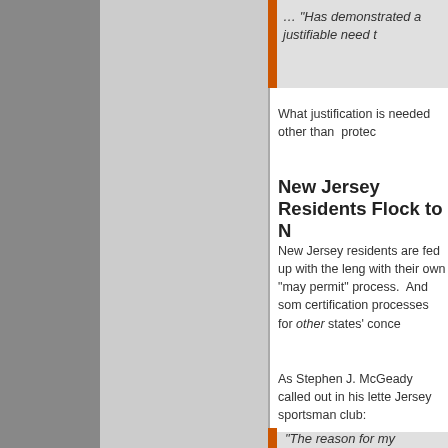… “Has demonstrated a justifiable need t
What justification is needed other than  protec
New Jersey Residents Flock to N
New Jersey residents are fed up with the leng with their own “may permit” process.  And som certification processes for other states’ conce
As Stephen J. McGeady called out in his lette Jersey sportsman club:
“The reason for my resignation is the dec those attending to receive a permit to car